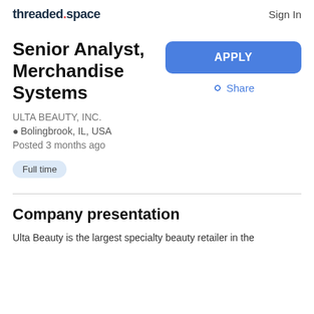threaded.space  Sign In
Senior Analyst, Merchandise Systems
ULTA BEAUTY, INC.
Bolingbrook, IL, USA
Posted 3 months ago
Full time
Company presentation
Ulta Beauty is the largest specialty beauty retailer in the